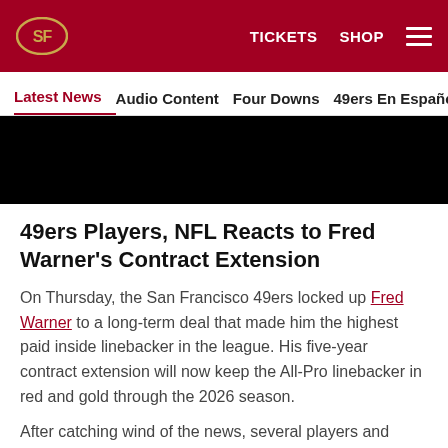49ers logo | TICKETS SHOP [menu]
Latest News | Audio Content | Four Downs | 49ers En Español | Ga
[Figure (photo): Black hero image, partially visible at top of page]
49ers Players, NFL Reacts to Fred Warner's Contract Extension
On Thursday, the San Francisco 49ers locked up Fred Warner to a long-term deal that made him the highest paid inside linebacker in the league. His five-year contract extension will now keep the All-Pro linebacker in red and gold through the 2026 season.
After catching wind of the news, several players and
[Figure (infographic): Social media share icons: Facebook, Twitter, Email, Link]